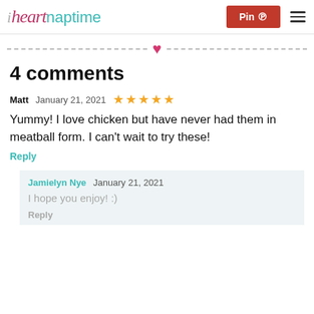i heart naptime  Pin  [hamburger menu]
[Figure (other): Decorative dashed divider line with pink heart in center]
4 comments
Matt  January 21, 2021  ★★★★★
Yummy! I love chicken but have never had them in meatball form. I can't wait to try these!
Reply
Jamielyn Nye  January 21, 2021
I hope you enjoy! :)
Reply